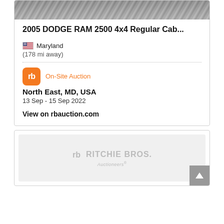[Figure (photo): Top portion of a vehicle photo (Dodge RAM truck), cropped at the top of the page]
2005 DODGE RAM 2500 4x4 Regular Cab...
🇺🇸 Maryland
(178 mi away)
On-Site Auction
North East, MD, USA
13 Sep - 15 Sep 2022
View on rbauction.com
[Figure (logo): Ritchie Bros. Auctioneers logo in gray on light gray background, advertisement area]